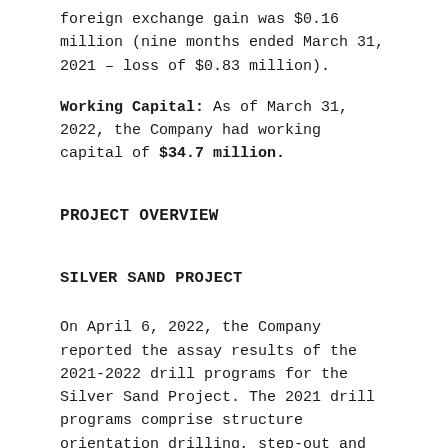foreign exchange gain was $0.16 million (nine months ended March 31, 2021 – loss of $0.83 million).
Working Capital: As of March 31, 2022, the Company had working capital of $34.7 million.
PROJECT OVERVIEW
SILVER SAND PROJECT
On April 6, 2022, the Company reported the assay results of the 2021-2022 drill programs for the Silver Sand Project. The 2021 drill programs comprise structure orientation drilling, step-out and infill drilling as well as